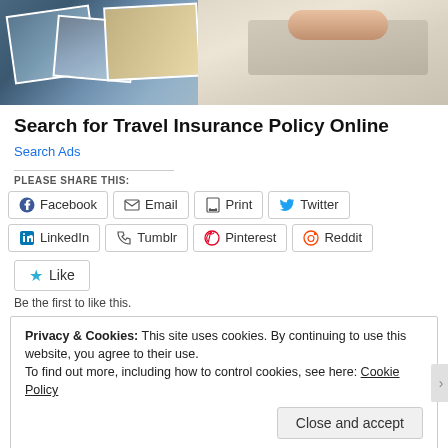[Figure (photo): Banner photo showing travel photos and hands on a laptop keyboard]
Search for Travel Insurance Policy Online
Search Ads
PLEASE SHARE THIS:
[Figure (infographic): Social share buttons: Facebook, Email, Print, Twitter, LinkedIn, Tumblr, Pinterest, Reddit]
[Figure (infographic): Like button with star icon]
Be the first to like this.
Privacy & Cookies: This site uses cookies. By continuing to use this website, you agree to their use.
To find out more, including how to control cookies, see here: Cookie Policy
Close and accept